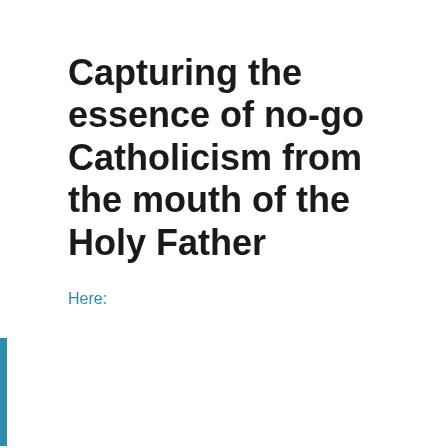Capturing the essence of no-go Catholicism from the mouth of the Holy Father
Here: